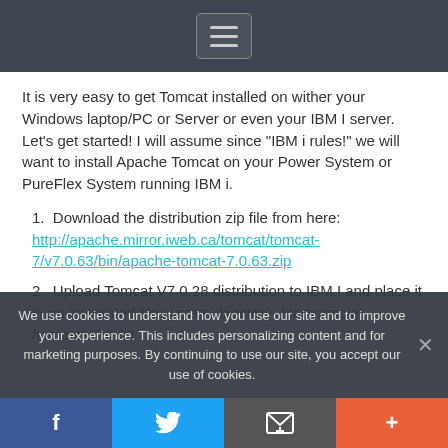[Navigation menu button]
It is very easy to get Tomcat installed on wither your Windows laptop/PC or Server or even your IBM I server. Let’s get started! I will assume since “IBM i rules!” we will want to install Apache Tomcat on your Power System or PureFlex System running IBM i.
1. Download the distribution zip file from here: http://apache.mirror.iweb.ca/tomcat/tomcat-7/v7.0.63/bin/apache-tomcat-7.0.63.zip
2. Upload Tomcat V7.0.28 distribution to IBM I and place it in an integrated file system directory; for example, /tomcat/v7.0.63
We use cookies to understand how you use our site and to improve your experience. This includes personalizing content and for marketing purposes. By continuing to use our site, you accept our use of cookies.
[Social share bar: Facebook, Twitter, Email, Plus]